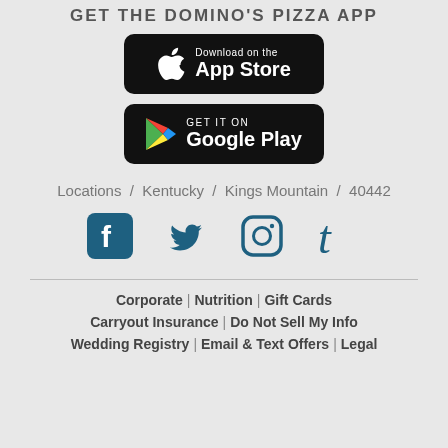GET THE DOMINO'S PIZZA APP
[Figure (logo): Download on the App Store button (black rounded rectangle with Apple logo)]
[Figure (logo): Get it on Google Play button (black rounded rectangle with Google Play logo)]
Locations / Kentucky / Kings Mountain / 40442
[Figure (infographic): Social media icons row: Facebook, Twitter, Instagram, Tumblr in teal/dark blue]
Corporate | Nutrition | Gift Cards  Carryout Insurance | Do Not Sell My Info  Wedding Registry | Email & Text Offers | Legal